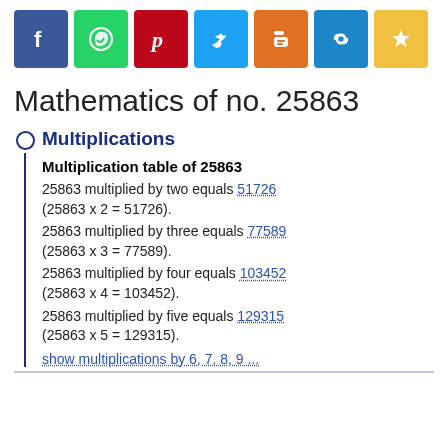[Figure (other): Social media sharing icons: Facebook (blue), WhatsApp (green), Pinterest (red), Twitter (light blue), Blogger (orange), link (blue), bookmark star (yellow)]
Mathematics of no. 25863
Multiplications
Multiplication table of 25863
25863 multiplied by two equals 51726 (25863 x 2 = 51726).
25863 multiplied by three equals 77589 (25863 x 3 = 77589).
25863 multiplied by four equals 103452 (25863 x 4 = 103452).
25863 multiplied by five equals 129315 (25863 x 5 = 129315).
show multiplications by 6, 7, 8, 9 ...